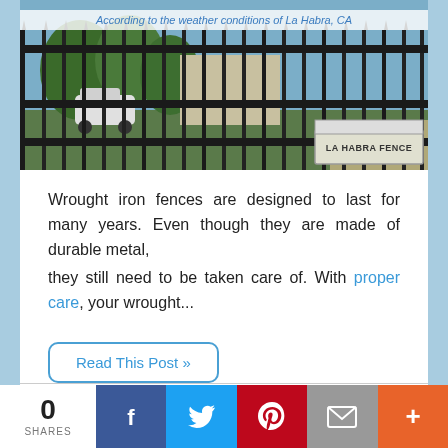[Figure (photo): Wrought iron fence/gate with trees and vehicles visible behind it. La Habra Fence logo visible in lower right corner of image.]
According to the weather conditions of La Habra, CA
Wrought iron fences are designed to last for many years. Even though they are made of durable metal, they still need to be taken care of. With proper care, your wrought...
Read This Post »